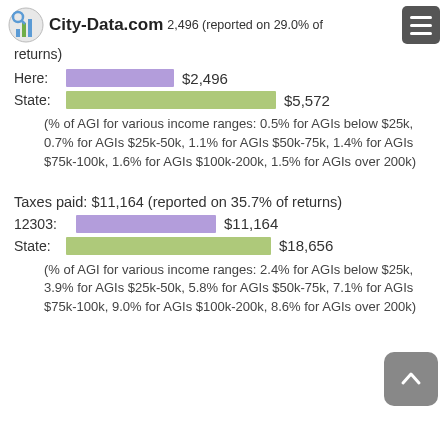City-Data.com  ...itary contributions: $2,496 (reported on 29.0% of returns)
Here:  $2,496
State:  $5,572
(% of AGI for various income ranges: 0.5% for AGIs below $25k, 0.7% for AGIs $25k-50k, 1.1% for AGIs $50k-75k, 1.4% for AGIs $75k-100k, 1.6% for AGIs $100k-200k, 1.5% for AGIs over 200k)
Taxes paid: $11,164 (reported on 35.7% of returns)
12303:  $11,164
State:  $18,656
(% of AGI for various income ranges: 2.4% for AGIs below $25k, 3.9% for AGIs $25k-50k, 5.8% for AGIs $50k-75k, 7.1% for AGIs $75k-100k, 9.0% for AGIs $100k-200k, 8.6% for AGIs over 200k)